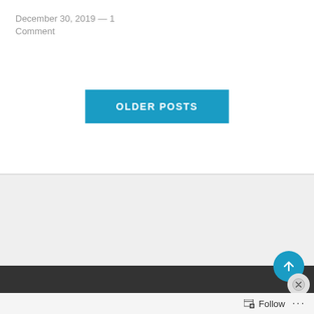December 30, 2019 — 1 Comment
OLDER POSTS
Advertisements
[Figure (screenshot): Bloomingdales advertisement banner with logo, model image, and SHOP button]
Follow ...